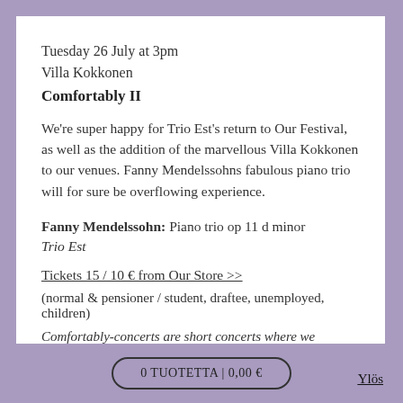Tuesday 26 July at 3pm
Villa Kokkonen
Comfortably II
We're super happy for Trio Est's return to Our Festival, as well as the addition of the marvellous Villa Kokkonen to our venues. Fanny Mendelssohns fabulous piano trio will for sure be overflowing experience.
Fanny Mendelssohn: Piano trio op 11 d minor
Trio Est
Tickets 15 / 10 € from Our Store >>
(normal & pensioner / student, draftee, unemployed, children)
Comfortably-concerts are short concerts where we encourage you to make yourself comfortable. They're designed especially for those audiences that might find it hard to concentrate to a full length
0 TUOTETTA | 0,00 €
Ylös